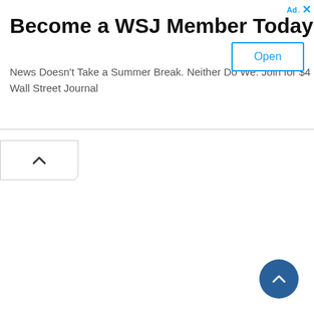Become a WSJ Member Today
News Doesn't Take a Summer Break. Neither Do We. Join for $4 per month. The Wall Street Journal
[Figure (screenshot): Collapse/chevron up button in a white rounded pill at the top left below the ad banner]
[Figure (screenshot): Scroll to top circular button with white chevron on dark blue background, positioned bottom right]